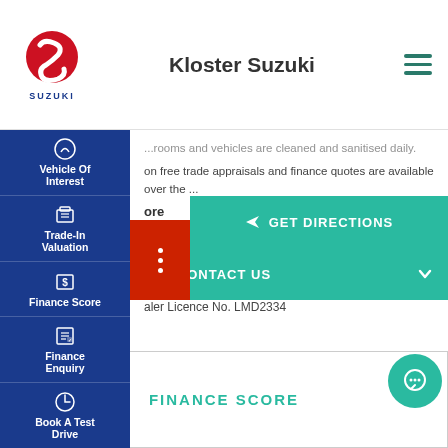[Figure (logo): Suzuki logo with red S emblem and SUZUKI text below]
Kloster Suzuki
...rooms and vehicles are cleaned and sanitised daily.
on free trade appraisals and finance quotes are available over the ...
ore
R NISSAN
tudor Street Hamilton NSW 2303
0 377 507
aler Licence No. LMD2334
[Figure (screenshot): Navigation sidebar with Vehicle Of Interest, Trade-In Valuation, Finance Score, Finance Enquiry, Book A Test Drive buttons]
GET DIRECTIONS
CONTACT US
FINANCE SCORE